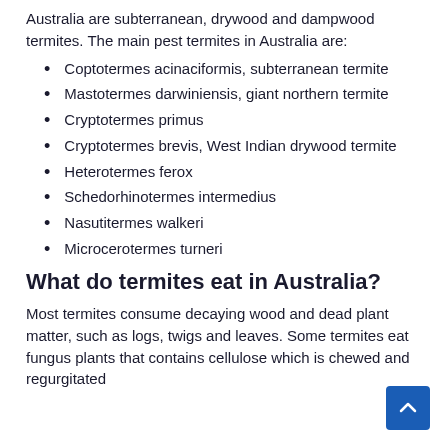Australia are subterranean, drywood and dampwood termites. The main pest termites in Australia are:
Coptotermes acinaciformis, subterranean termite
Mastotermes darwiniensis, giant northern termite
Cryptotermes primus
Cryptotermes brevis, West Indian drywood termite
Heterotermes ferox
Schedorhinotermes intermedius
Nasutitermes walkeri
Microcerotermes turneri
What do termites eat in Australia?
Most termites consume decaying wood and dead plant matter, such as logs, twigs and leaves. Some termites eat fungus plants that contains cellulose which is chewed and regurgitated